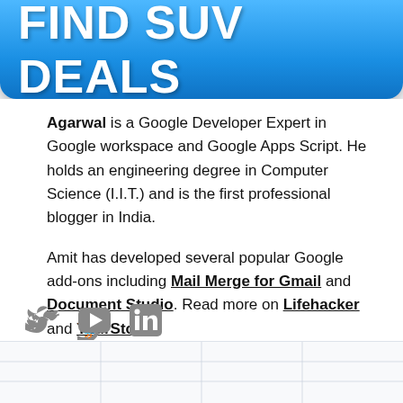[Figure (other): Blue gradient banner button with text FIND SUV DEALS in bold white uppercase letters]
Agarwal is a Google Developer Expert in Google workspace and Google Apps Script. He holds an engineering degree in Computer Science (I.I.T.) and is the first professional blogger in India.
Amit has developed several popular Google add-ons including Mail Merge for Gmail and Document Studio. Read more on Lifehacker and YourStory
[Figure (other): Social media icons: Twitter bird icon, YouTube play button icon, LinkedIn icon — all in grey]